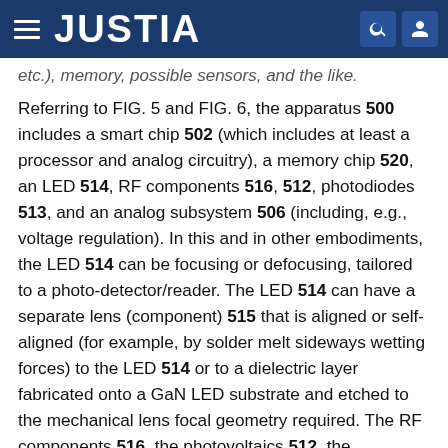JUSTIA
etc.), memory, possible sensors, and the like.
Referring to FIG. 5 and FIG. 6, the apparatus 500 includes a smart chip 502 (which includes at least a processor and analog circuitry), a memory chip 520, an LED 514, RF components 516, 512, photodiodes 513, and an analog subsystem 506 (including, e.g., voltage regulation). In this and in other embodiments, the LED 514 can be focusing or defocusing, tailored to a photo-detector/reader. The LED 514 can have a separate lens (component) 515 that is aligned or self-aligned (for example, by solder melt sideways wetting forces) to the LED 514 or to a dielectric layer fabricated onto a GaN LED substrate and etched to the mechanical lens focal geometry required. The RF components 516, the photovoltaics 512, the photodiodes 513, and the analog subsystem 506 are disposed at a bottom surface 563 of a chip carrier 564. In one or more embodiments, the